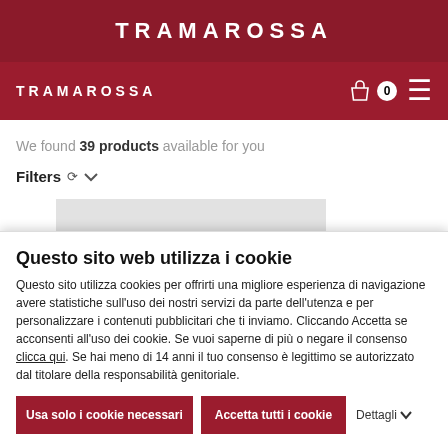TRAMAROSSA
TRAMAROSSA
We found 39 products available for you
Filters
[Figure (screenshot): Grey product image placeholder area]
Questo sito web utilizza i cookie
Questo sito utilizza cookies per offrirti una migliore esperienza di navigazione avere statistiche sull'uso dei nostri servizi da parte dell'utenza e per personalizzare i contenuti pubblicitari che ti inviamo. Cliccando Accetta se acconsenti all'uso dei cookie. Se vuoi saperne di più o negare il consenso clicca qui. Se hai meno di 14 anni il tuo consenso è legittimo se autorizzato dal titolare della responsabilità genitoriale.
Usa solo i cookie necessari
Accetta tutti i cookie
Dettagli